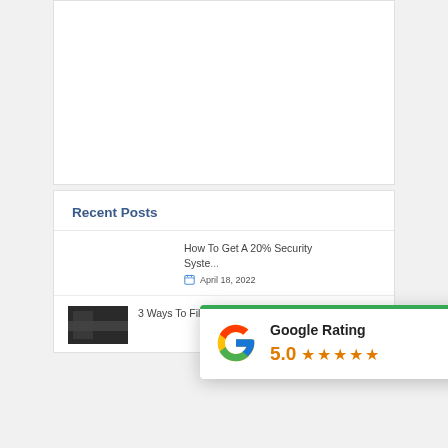[Figure (other): White advertisement/content box placeholder]
Recent Posts
How To Get A 20% Security Syste...
April 18, 2022
[Figure (other): Google Rating overlay widget showing 5.0 stars]
3 Ways To Fill Those Carpark